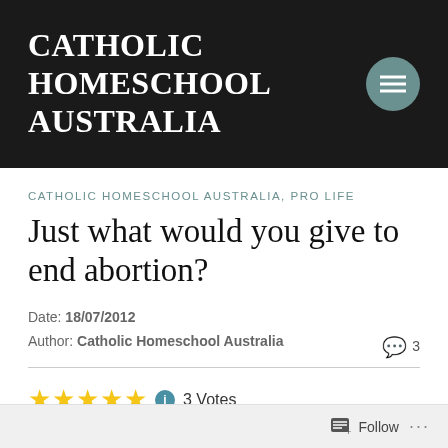CATHOLIC HOMESCHOOL AUSTRALIA
CATHOLIC HOMESCHOOL AUSTRALIA, PRO LIFE
Just what would you give to end abortion?
Date: 18/07/2012
Author: Catholic Homeschool Australia   3
3 Votes